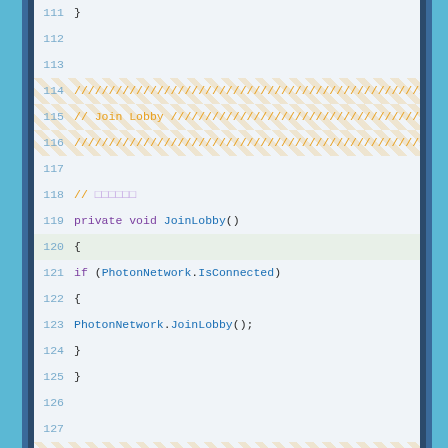[Figure (screenshot): C# code editor screenshot showing lines 111-140 of a Unity Photon networking script. The code displays a JoinLobby() method and the beginning of a CreateAndJoinRoom() method, with orange striped comment banners and syntax highlighting.]